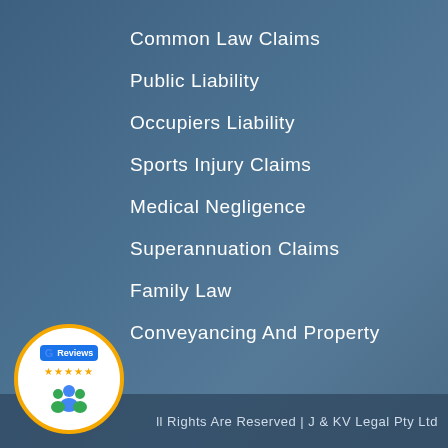Common Law Claims
Public Liability
Occupiers Liability
Sports Injury Claims
Medical Negligence
Superannuation Claims
Family Law
Conveyancing And Property
[Figure (logo): Google Reviews badge with gold ring, five stars, and people icon]
All Rights Are Reserved | J & KV Legal Pty Ltd